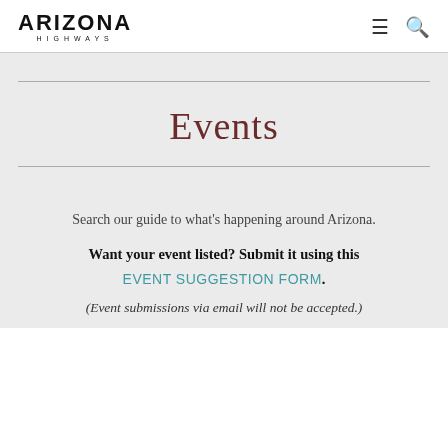ARIZONA HIGHWAYS
Events
Search our guide to what's happening around Arizona.
Want your event listed? Submit it using this EVENT SUGGESTION FORM. (Event submissions via email will not be accepted.)